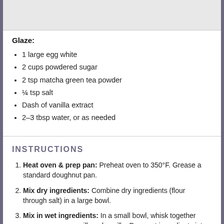[Figure (photo): Top portion of a recipe page image, cropped — gray/light background area]
Glaze:
1 large egg white
2 cups powdered sugar
2 tsp matcha green tea powder
¼ tsp salt
Dash of vanilla extract
2–3 tbsp water, or as needed
INSTRUCTIONS
Heat oven & prep pan: Preheat oven to 350°F. Grease a standard doughnut pan.
Mix dry ingredients: Combine dry ingredients (flour through salt) in a large bowl.
Mix in wet ingredients: In a small bowl, whisk together egg, sour cream, milk and vanilla. Pour wet ingredients into dry ingredients and whisk until just combined. Stir in melted butter.
Bake: Transfer ingredients to a piping bag and pipe into molds, filling ¾ of the way up. Baked on the center rack of the oven for